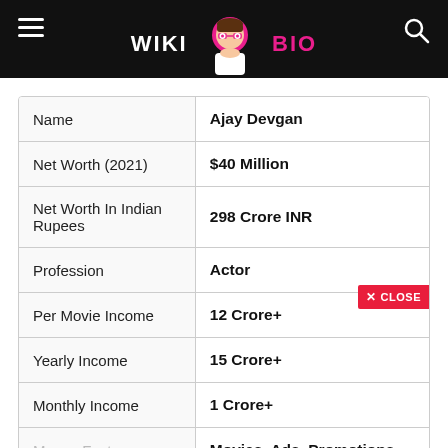WIKI BIO (website header with logo)
| Field | Value |
| --- | --- |
| Name | Ajay Devgan |
| Net Worth (2021) | $40 Million |
| Net Worth In Indian Rupees | 298 Crore INR |
| Profession | Actor |
| Per Movie Income | 12 Crore+ |
| Yearly Income | 15 Crore+ |
| Monthly Income | 1 Crore+ |
| Money Factors | Movies, Ads, Promotions, |